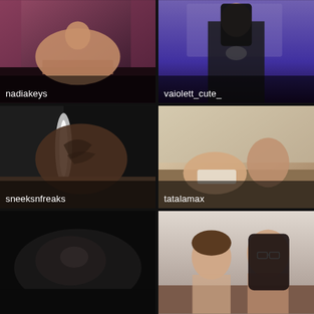[Figure (screenshot): Webcam thumbnail showing a person in a pink/purple lit room. Label: nadiakeys]
[Figure (screenshot): Webcam thumbnail showing a person in black lingerie in a purple room. Label: vaiolett_cute_]
[Figure (screenshot): Webcam thumbnail showing a tattooed person in a dark room. Label: sneeksnfreaks]
[Figure (screenshot): Webcam thumbnail showing two people in a bright room. Label: tatalamax]
[Figure (screenshot): Webcam thumbnail showing a dark, low-light scene.]
[Figure (screenshot): Webcam thumbnail showing a young man and dark-haired woman on a couch.]